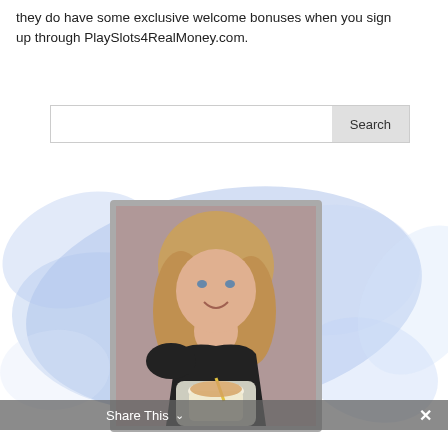they do have some exclusive welcome bonuses when you sign up through PlaySlots4RealMoney.com.
[Figure (screenshot): Search bar with text input field and Search button]
[Figure (photo): Photo of a smiling blonde woman holding a drink with a straw, set on a blue abstract watercolor blob background with a glitter frame. A 'Share This' bar appears at the bottom with a close button.]